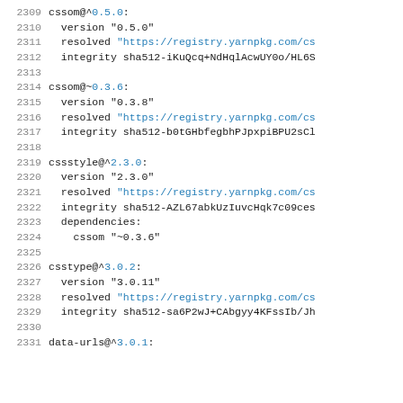2309 cssom@^0.5.0:
2310   version "0.5.0"
2311   resolved "https://registry.yarnpkg.com/cs
2312   integrity sha512-iKuQcq+NdHqlAcwUY0o/HL6S
2313
2314 cssom@~0.3.6:
2315   version "0.3.8"
2316   resolved "https://registry.yarnpkg.com/cs
2317   integrity sha512-b0tGHbfegbhPJpxpiBPU2sCl
2318
2319 cssstyle@^2.3.0:
2320   version "2.3.0"
2321   resolved "https://registry.yarnpkg.com/cs
2322   integrity sha512-AZL67abkUzIuvcHqk7c09ces
2323   dependencies:
2324     cssom "~0.3.6"
2325
2326 csstype@^3.0.2:
2327   version "3.0.11"
2328   resolved "https://registry.yarnpkg.com/cs
2329   integrity sha512-sa6P2wJ+CAbgyy4KFssIb/Jh
2330
2331 data-urls@^3.0.1: